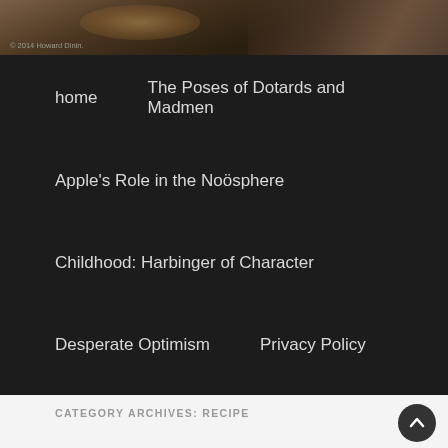[Figure (photo): Top portion of a food/dining photo with dark tones, partially visible dishes. Copyright text '© 2014 Howard Dinin' in bottom-left corner.]
home
The Poses of Dotards and Madmen
Apple's Role in the Noösphere
Childhood: Harbinger of Character
Desperate Optimism
Privacy Policy
CATEGORY ARCHIVES: RECIPE
Real French Roast Chicken
Posted on 23 July 2014
Approximate Reading Time: 7 minutes